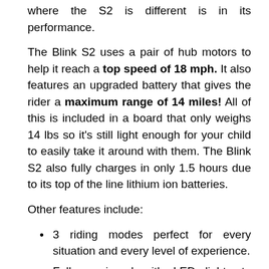where the S2 is different is in its performance.
The Blink S2 uses a pair of hub motors to help it reach a top speed of 18 mph. It also features an upgraded battery that gives the rider a maximum range of 14 miles! All of this is included in a board that only weighs 14 lbs so it's still light enough for your child to easily take it around with them. The Blink S2 also fully charges in only 1.5 hours due to its top of the line lithium ion batteries.
Other features include:
3 riding modes perfect for every situation and every level of experience.
Fully equipped with LED lights to ensure that your kids are safe and seen to traffic and